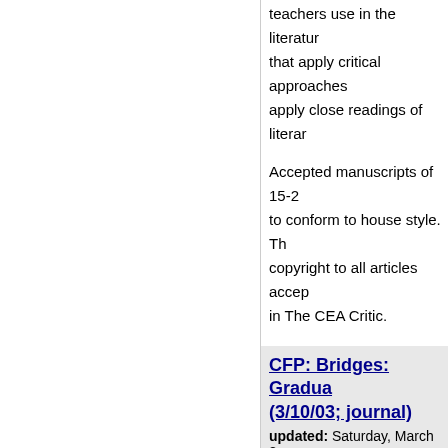teachers use in the literature that apply critical approaches apply close readings of literature
Accepted manuscripts of 15-2 to conform to house style. Th copyright to all articles accep in The CEA Critic.
CFP: Bridges: Gradua (3/10/03; journal)
updated: Saturday, March 8,
scotevan
ANNOUNCEMENT AND CALL F
CFP: Bridges: Gradu